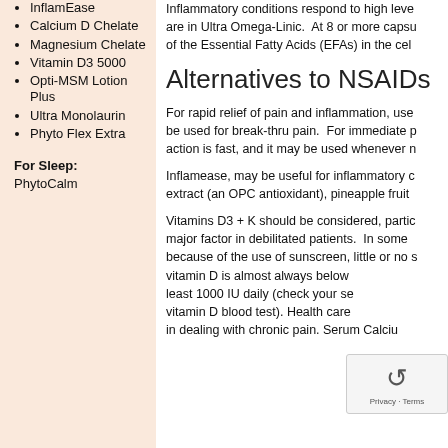InflamEase
Calcium D Chelate
Magnesium Chelate
Vitamin D3 5000
Opti-MSM Lotion Plus
Ultra Monolaurin
Phyto Flex Extra
For Sleep: PhytoCalm
Inflammatory conditions respond to high levels of omega-3 fatty acids which are in Ultra Omega-Linic. At 8 or more capsules per day, these DHA rich oils of the Essential Fatty Acids (EFAs) in the cells...
Alternatives to NSAIDs
For rapid relief of pain and inflammation, use... be used for break-thru pain. For immediate relief, action is fast, and it may be used whenever n...
Inflamease, may be useful for inflammatory conditions... extract (an OPC antioxidant), pineapple fruit...
Vitamins D3 + K should be considered, particularly as a major factor in debilitated patients. In some cases, because of the use of sunscreen, little or no vitamin D is almost always below... least 1000 IU daily (check your serum vitamin D blood test). Health care professionals in dealing with chronic pain. Serum Calcium...